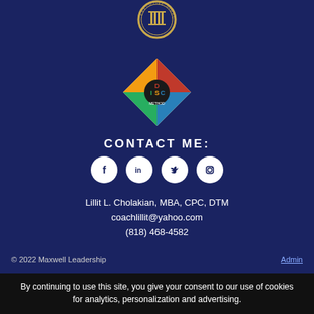[Figure (logo): Circular badge/seal logo for Executive Director, dark blue and gold]
[Figure (logo): Maxwell DISC Method diamond logo with colored quadrants (red, green, blue, yellow)]
CONTACT ME:
[Figure (illustration): Row of four social media icons: Facebook, LinkedIn, Twitter, Instagram — white circles on dark background]
Lillit L. Cholakian, MBA, CPC, DTM
coachlillit@yahoo.com
(818) 468-4582
© 2022 Maxwell Leadership     Admin
By continuing to use this site, you give your consent to our use of cookies for analytics, personalization and advertising.